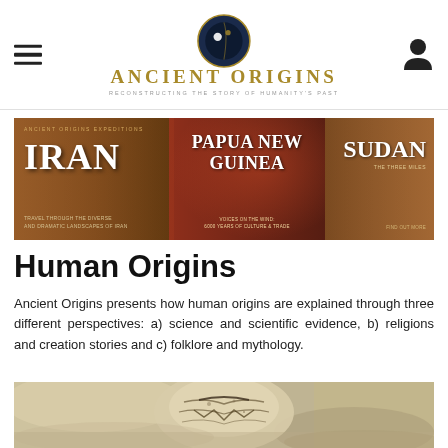Ancient Origins — Reconstructing the Story of Humanity's Past
[Figure (infographic): Ancient Origins Expeditions advertisement banner showing three destinations: IRAN, PAPUA NEW GUINEA, and SUDAN]
Human Origins
Ancient Origins presents how human origins are explained through three different perspectives: a) science and scientific evidence, b) religions and creation stories and c) folklore and mythology.
[Figure (photo): Close-up photograph of an ancient artifact, appears to be a decorated skull or vessel with carved/painted patterns]